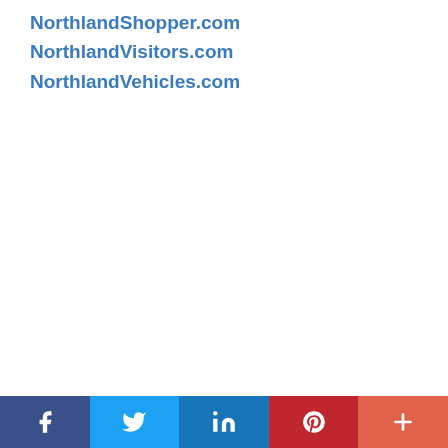NorthlandShopper.com
NorthlandVisitors.com
NorthlandVehicles.com
Social share bar: Facebook, Twitter, LinkedIn, Pinterest, More